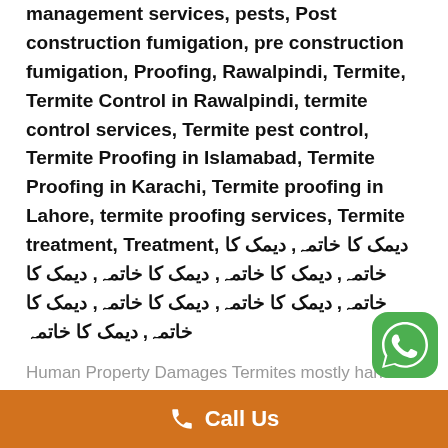management services, pests, Post construction fumigation, pre construction fumigation, Proofing, Rawalpindi, Termite, Termite Control in Rawalpindi, termite control services, Termite pest control, Termite Proofing in Islamabad, Termite Proofing in Karachi, Termite proofing in Lahore, termite proofing services, Termite treatment, Treatment, دیمک کا خاتمہ, دیمک کا خاتمہ, دیمک کا خاتمہ, دیمک کا خاتمہ, دیمک کا خاتمہ, دیمک کا خاتمہ, دیمک کا خاتمہ, دیمک کا خاتمہ, دیمک کا خاتمہ
Human Property Damages Termites mostly harm the wooden components of your house, such as doors and windows. Additionally, it may result in the
Call Us